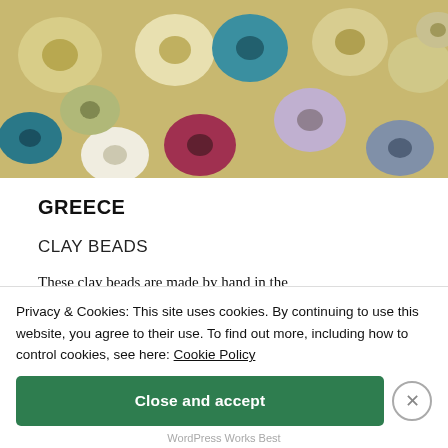[Figure (photo): Close-up photo of colorful clay beads — cream/yellow, teal, white, olive, maroon/red, lavender, grey tones — cylindrical with holes, piled together.]
GREECE
CLAY BEADS
These clay beads are made by hand in the
Privacy & Cookies: This site uses cookies. By continuing to use this website, you agree to their use. To find out more, including how to control cookies, see here: Cookie Policy
Close and accept